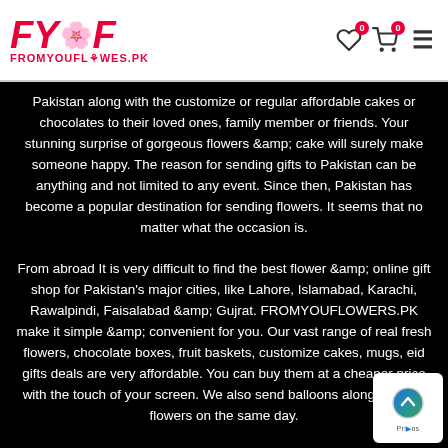[Figure (logo): FromYouFlowers.pk logo with stylized FYF letters and flower icon, pink/red color]
Pakistan along with the customize or regular affordable cakes or chocolates to their loved ones, family member or friends. Your stunning surprise of gorgeous flowers &amp; cake will surely make someone happy. The reason for sending gifts to Pakistan can be anything and not limited to any event. Since then, Pakistan has become a popular destination for sending flowers. It seems that no matter what the occasion is.
From abroad It is very difficult to find the best flower &amp; online gift shop for Pakistan's major cities, like Lahore, Islamabad, Karachi, Rawalpindi, Faisalabad &amp; Gujrat. FROMYOUFLOWERS.PK make it simple &amp; convenient for you. Our vast range of real fresh flowers, chocolate boxes, fruit baskets, customize cakes, mugs, eid gifts deals are very affordable. You can buy them at a cheaper price with the touch of your screen. We also send balloons along with the flowers on the same day.
We are providing services 24/7 because of this are not only open business hours, but they are also open during weekends. Anyone...